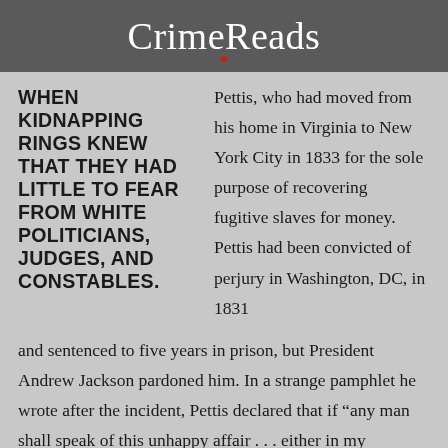CrimeReads
WHEN KIDNAPPING RINGS KNEW THAT THEY HAD LITTLE TO FEAR FROM WHITE POLITICIANS, JUDGES, AND CONSTABLES.
Pettis, who had moved from his home in Virginia to New York City in 1833 for the sole purpose of recovering fugitive slaves for money. Pettis had been convicted of perjury in Washington, DC, in 1831
and sentenced to five years in prison, but President Andrew Jackson pardoned him. In a strange pamphlet he wrote after the incident, Pettis declared that if “any man shall speak of this unhappy affair . . . either in my presence, or out of it . . . I am determined without form